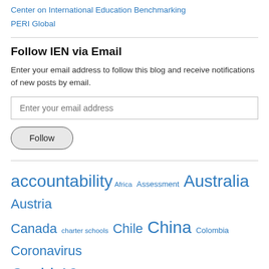Center on International Education Benchmarking
PERI Global
Follow IEN via Email
Enter your email address to follow this blog and receive notifications of new posts by email.
Enter your email address
Follow
accountability Africa Assessment Australia Austria Canada charter schools Chile China Colombia Coronavirus Covid-19 curricular reform curriculum curriculum reform